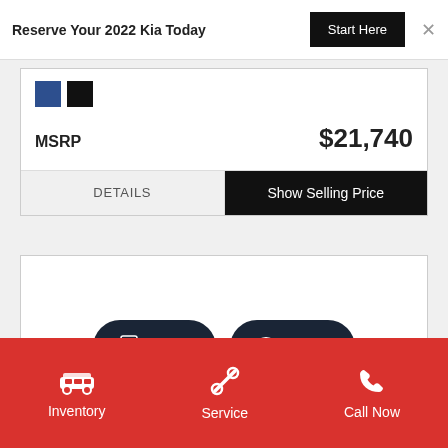Reserve Your 2022 Kia Today
Start Here
[Figure (other): Two color swatches: dark blue and black]
MSRP   $21,740
DETAILS
Show Selling Price
[Figure (other): TEXT and CHAT buttons with icons]
Inventory
Service
Call Now